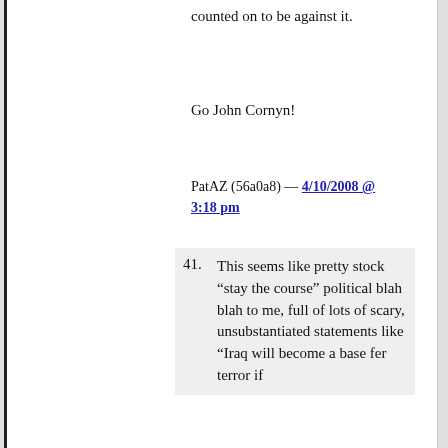counted on to be against it.
Go John Cornyn!
PatAZ (56a0a8) — 4/10/2008 @ 3:18 pm
41. This seems like pretty stock “stay the course” political blah blah to me, full of lots of scary, unsubstantiated statements like “Iraq will become a base fer terror if